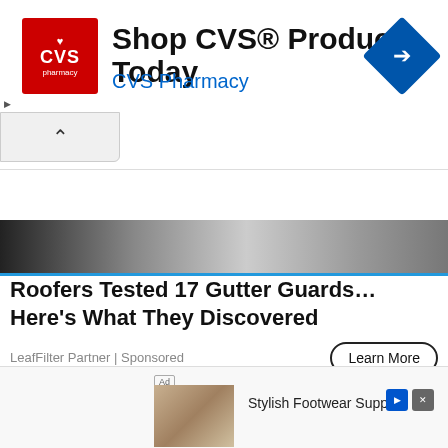[Figure (screenshot): CVS Pharmacy advertisement banner with CVS logo, headline 'Shop CVS® Products Today', 'CVS Pharmacy' link in blue, and blue diamond arrow icon on the right]
[Figure (photo): Partial photo of a person with gutter guards visible at the top of the page]
Roofers Tested 17 Gutter Guards… Here's What They Discovered
LeafFilter Partner | Sponsored
[Figure (photo): Close-up photo of a woman with blonde hair looking forward against a dark blue background]
[Figure (screenshot): Bottom advertisement for Stylish Footwear Supplier showing high heels image with Ad label and control buttons]